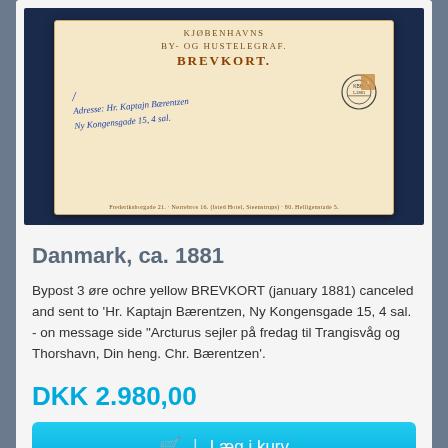[Figure (photo): Antique Danish BREVKORT (postcard) from around 1881. The card has a navy blue background frame. The postcard is cream/beige colored with printed header text 'KJØBENHAVNS BY- OG HUSTELEGRAF. BREVKORT.' in brown/orange. Blue handwritten cursive text addresses the card to 'Hr. Kaptajn Bærentzen, Ny Kongensgade 15, 4 sal.' with a circular cancellation stamp in the upper right corner.]
Danmark, ca. 1881
Bypost 3 øre ochre yellow BREVKORT (january 1881) canceled and sent to 'Hr. Kaptajn Bærentzen, Ny Kongensgade 15, 4 sal. - on message side "Arcturus sejler på fredag til Trangisvåg og Thorshavn, Din heng. Chr. Bærentzen'.
DKK 2.980,00
Læg i kurv